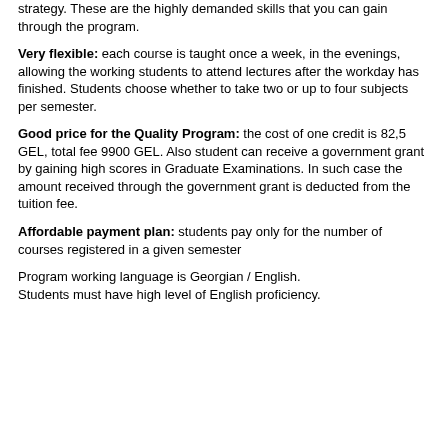strategy. These are the highly demanded skills that you can gain through the program.
Very flexible: each course is taught once a week, in the evenings, allowing the working students to attend lectures after the workday has finished. Students choose whether to take two or up to four subjects per semester.
Good price for the Quality Program: the cost of one credit is 82,5 GEL, total fee 9900 GEL. Also student can receive a government grant by gaining high scores in Graduate Examinations. In such case the amount received through the government grant is deducted from the tuition fee.
Affordable payment plan: students pay only for the number of courses registered in a given semester
Program working language is Georgian / English.
Students must have high level of English proficiency.